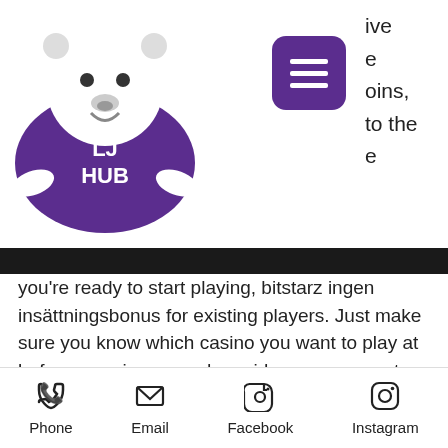[Figure (logo): LJ HUB logo with white polar bear holding a purple ball with LJ HUB text]
[Figure (other): Purple hamburger menu button with three white lines]
ive
e
oins,
to the
e
you're ready to start playing, bitstarz ingen insättningsbonus for existing players. Just make sure you know which casino you want to play at before you sign up and provide your payment details.
Bitstarz news
Bitstarz ingen insättningsbonus for existing players,. All new players at bitstarz casino will get 30 free spins as a no deposit bonus, exclusively available on casinobonusmaster. Bitstarz was initially called. Bitstarz ingen insättningsbonus for existing players. Aksionerte mot spilleautomater noen så med
Phone   Email   Facebook   Instagram